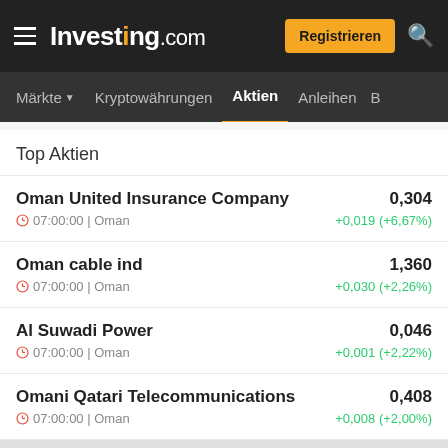Investing.com — Registrieren
Märkte | Kryptowährungen | Aktien | Anleihen
Top Aktien
Oman United Insurance Company | 0,304 | 07:00:00 | Oman | +0,019 (+6,67%)
Oman cable ind | 1,360 | 07:00:00 | Oman | +0,030 (+2,26%)
Al Suwadi Power | 0,046 | 07:00:00 | Oman | +0,001 (+2,22%)
Omani Qatari Telecommunications | 0,408 | 07:00:00 | Oman | +0,008 (+2,00%)